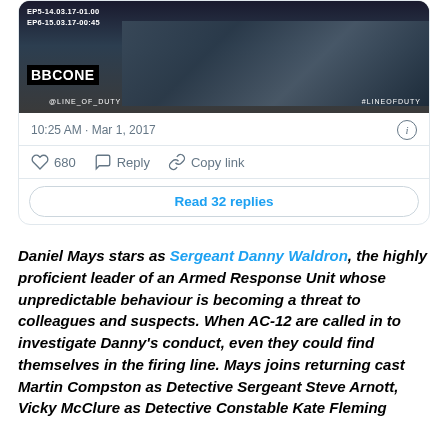[Figure (screenshot): Tweet screenshot showing BBC One Line of Duty promotional image with two armed police officers. Text overlay shows EP5-14.03.17-01.00, EP6-15.03.17-00:45, BBCONE badge, @LINE_OF_DUTY handle, #LINEOFDUTY hashtag.]
10:25 AM · Mar 1, 2017
680  Reply  Copy link
Read 32 replies
Daniel Mays stars as Sergeant Danny Waldron, the highly proficient leader of an Armed Response Unit whose unpredictable behaviour is becoming a threat to colleagues and suspects. When AC-12 are called in to investigate Danny's conduct, even they could find themselves in the firing line. Mays joins returning cast Martin Compston as Detective Sergeant Steve Arnott, Vicky McClure as Detective Constable Kate Fleming